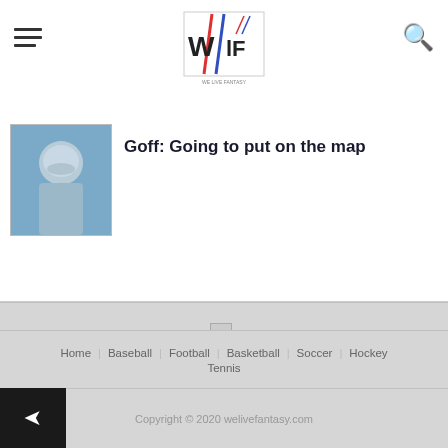We Live Fantasy — site header with logo, hamburger menu, and search icon
Goff: Going to put on the map
[Figure (photo): Thumbnail photo of a football player]
[Figure (logo): We Live Fantasy logo image]
We Live Fantasy
Home | Baseball | Football | Basketball | Soccer | Hockey | Tennis
Copyright © 2020 welivefantasy.com